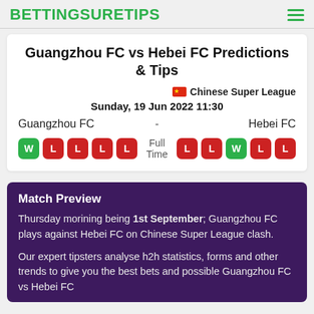BETTINGSURETIPS
Guangzhou FC vs Hebei FC Predictions & Tips
Chinese Super League
Sunday, 19 Jun 2022 11:30
Guangzhou FC - Hebei FC
W L L L L  Full Time  L L W L L
Match Preview
Thursday morining being 1st September; Guangzhou FC plays against Hebei FC on Chinese Super League clash.
Our expert tipsters analyse h2h statistics, forms and other trends to give you the best bets and possible Guangzhou FC vs Hebei FC